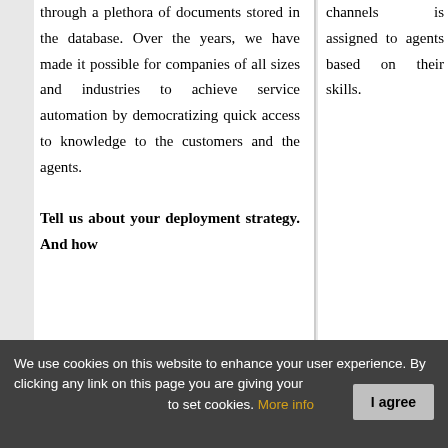through a plethora of documents stored in the database. Over the years, we have made it possible for companies of all sizes and industries to achieve service automation by democratizing quick access to knowledge to the customers and the agents.
channels is assigned to agents based on their skills.
Tell us about your deployment strategy. And how
We use cookies on this website to enhance your user experience. By clicking any link on this page you are giving your consent to set cookies. More info